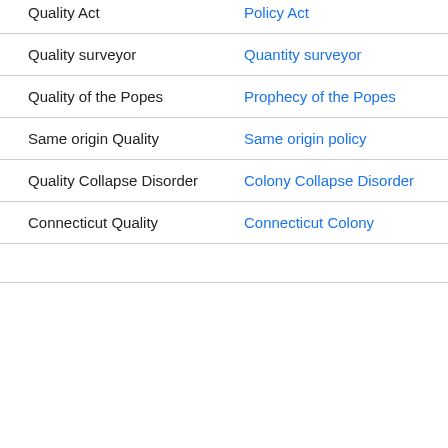| Quality Act | Policy Act |
| Quality surveyor | Quantity surveyor |
| Quality of the Popes | Prophecy of the Popes |
| Same origin Quality | Same origin policy |
| Quality Collapse Disorder | Colony Collapse Disorder |
| Connecticut Quality | Connecticut Colony |